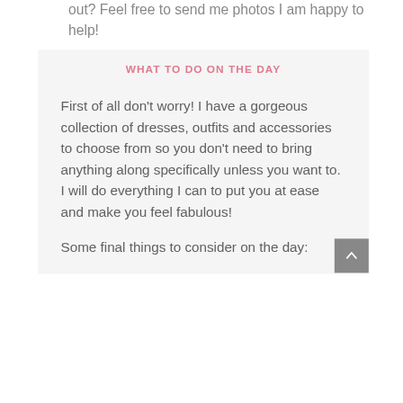out? Feel free to send me photos I am happy to help!
WHAT TO DO ON THE DAY
First of all don't worry! I have a gorgeous collection of dresses, outfits and accessories to choose from so you don't need to bring anything along specifically unless you want to. I will do everything I can to put you at ease and make you feel fabulous!
Some final things to consider on the day: